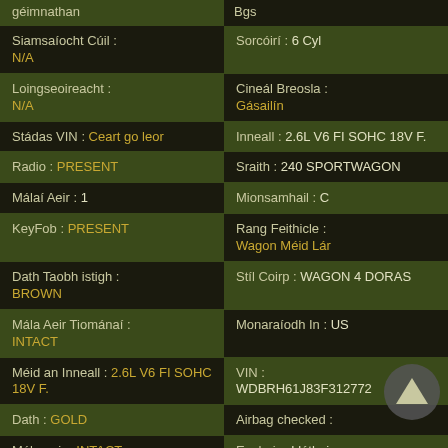géimnathan (partial, top left)
Bgs (partial, top right)
Siamsaíocht Cúil : N/A
Sorcóirí : 6 Cyl
Loingseoireacht : N/A
Cineál Breosla : Gásailín
Stádas VIN : Ceart go leor
Inneall : 2.6L V6 FI SOHC 18V F.
Radio : PRESENT
Sraith : 240 SPORTWAGON
Málaí Aeir : 1
Mionsamhail : C
KeyFob : PRESENT
Rang Feithicle : Wagon Méid Lár
Dath Taobh istigh : BROWN
Stíl Coirp : WAGON 4 DORAS
Mála Aeir Tiománaí : INTACT
Monaraíodh In : US
Méid an Inneall : 2.6L V6 FI SOHC 18V F.
VIN : WDBRH61J83F312772
Dath : GOLD
Airbag checked :
Mála aeir : INTACT
Eochair : I láthair
ACV : 800 (partial)
Cól... (partial bottom right)